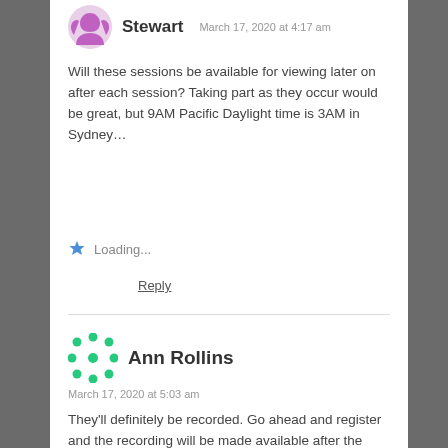Stewart  March 17, 2020 at 4:17 am
Will these sessions be available for viewing later on after each session? Taking part as they occur would be great, but 9AM Pacific Daylight time is 3AM in Sydney…
Loading...
Reply
Ann Rollins  March 17, 2020 at 5:03 am
They'll definitely be recorded. Go ahead and register and the recording will be made available after the session.
Stay safe and we're glad you'll make time to check out our approach – exceptional leaders have never